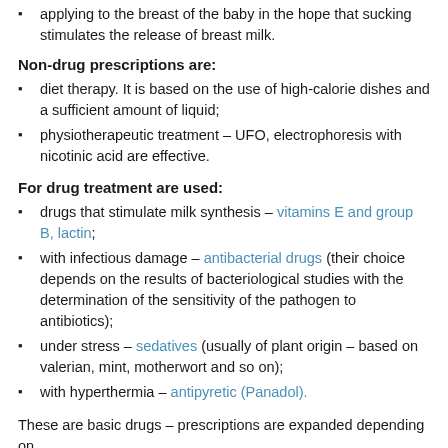applying to the breast of the baby in the hope that sucking stimulates the release of breast milk.
Non-drug prescriptions are:
diet therapy. It is based on the use of high-calorie dishes and a sufficient amount of liquid;
physiotherapeutic treatment – UFO, electrophoresis with nicotinic acid are effective.
For drug treatment are used:
drugs that stimulate milk synthesis – vitamins E and group B, lactin;
with infectious damage – antibacterial drugs (their choice depends on the results of bacteriological studies with the determination of the sensitivity of the pathogen to antibiotics);
under stress – sedatives (usually of plant origin – based on valerian, mint, motherwort and so on);
with hyperthermia – antipyretic (Panadol).
These are basic drugs – prescriptions are expanded depending on